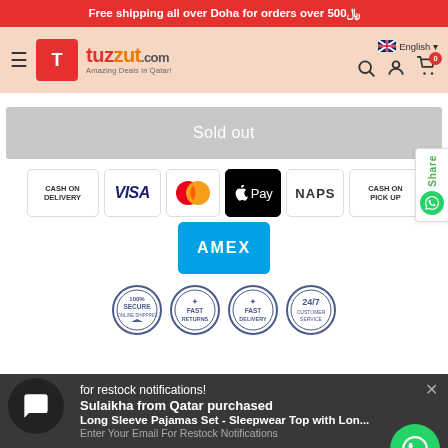Free shipping all over Doha for orders over 500﷼
[Figure (logo): Tuzzut.com logo - Amazing Deals in Qatar!]
English
Sold out
[Figure (infographic): Payment method icons: Cash on Delivery, Visa, Mastercard, Apple Pay, NAPS, Cash on Pick Up, AMEX]
[Figure (infographic): Trust badges: 100% Secure Online Shopping, Fast Returns, Fast Delivery, 24/7 Customer Service]
for restock notifications!
Sulaikha from Qatar purchased
Long Sleeve Pajamas Set - Sleepwear Top with Lon...
Enter Your Email For Restock Notifications